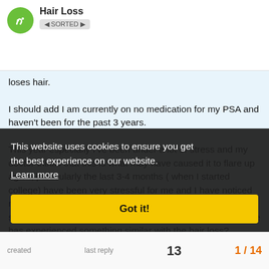Hair Loss
loses hair.
I should add I am currently on no medication for my PSA and haven't been for the past 3 years.
This year especially I've been under a lot of stress and my doctor thinks that this is what may have caused it to flare up again, particularly the last 3-4 months ( when I started college) have been very stressful for me and I have noticed my symptoms coming back bit by bit, this is also when I started loosing A LOT of hair. I was wondering if any one else has experienced something similar with the hair loss?
( I'm being referred back to the hospital and will no doubt start medication again )
This website uses cookies to ensure you get the best experience on our website. Learn more Got it!
created   last reply   13   1/14